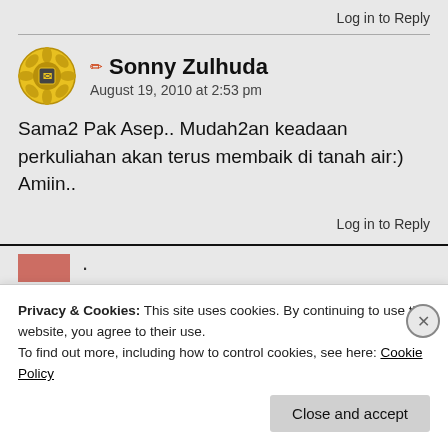Log in to Reply
Sonny Zulhuda
August 19, 2010 at 2:53 pm
Sama2 Pak Asep.. Mudah2an keadaan perkuliahan akan terus membaik di tanah air:) Amiin..
Log in to Reply
Privacy & Cookies: This site uses cookies. By continuing to use this website, you agree to their use.
To find out more, including how to control cookies, see here: Cookie Policy
Close and accept